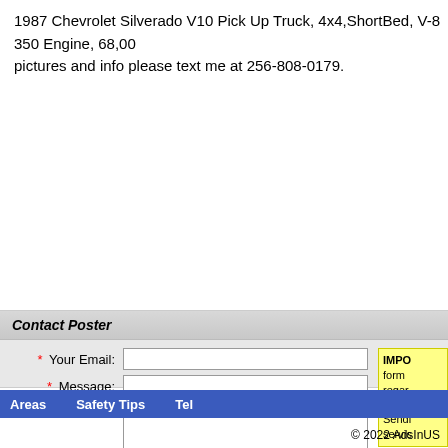1987 Chevrolet Silverado V10 Pick Up Truck, 4x4,ShortBed, V-8 350 Engine, 68,000 pictures and info please text me at 256-808-0179.
Contact Poster
* Your Email: [input field]
* Message: [textarea]
* = Required information.
IMPO form regar Sendi servic
Areas   Safety Tips   Tel   © 2022 AdsInUS